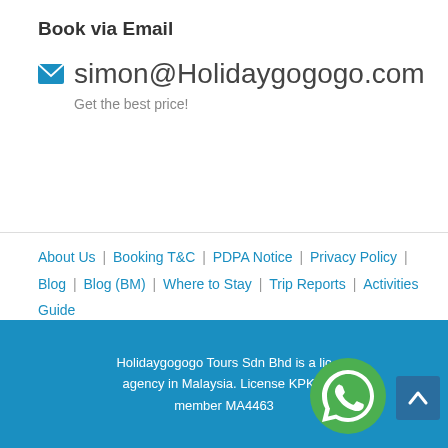Book via Email
simon@Holidaygogogo.com
Get the best price!
About Us | Booking T&C | PDPA Notice | Privacy Policy | Blog | Blog (BM) | Where to Stay | Trip Reports | Activities Guide
Holidaygogogo Tours Sdn Bhd is a lic... agency in Malaysia. License KPK/L... member MA4463